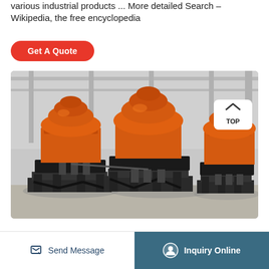various industrial products ... More detailed Search – Wikipedia, the free encyclopedia
Get A Quote
[Figure (photo): Three large orange industrial cone crusher machines displayed in a factory/warehouse setting with grey industrial background. The machines are mounted on black metal frames.]
Send Message   Inquiry Online